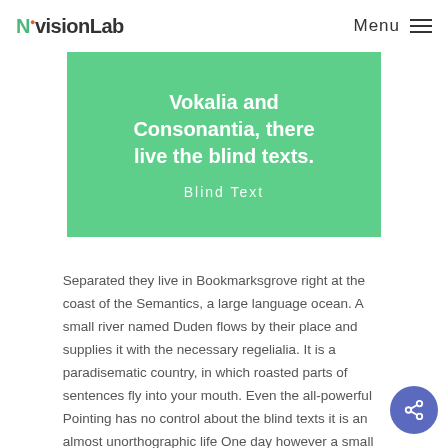NvisionLab  Menu
Vokalia and Consonantia, there live the blind texts.
Blind Text
Separated they live in Bookmarksgrove right at the coast of the Semantics, a large language ocean. A small river named Duden flows by their place and supplies it with the necessary regelialia. It is a paradisematic country, in which roasted parts of sentences fly into your mouth. Even the all-powerful Pointing has no control about the blind texts it is an almost unorthographic life One day however a small line of blind text by the name of Lorem Ipsum decided to leave for the far World of Grammar. The Big Oxmox advised her not to do so, because there were